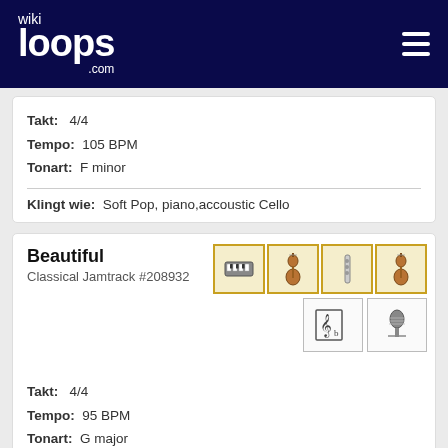wikiloops.com
Takt: 4/4
Tempo: 105 BPM
Tonart: F minor
Klingt wie: Soft Pop, piano,accoustic Cello
Beautiful
Classical Jamtrack #208932
[Figure (illustration): Four instrument icons (keyboard/harmonica, violin, microphone/flute, violin) in gold-bordered boxes, plus two music-symbol icon boxes below]
Takt: 4/4
Tempo: 95 BPM
Tonart: G major
wikiloops.com verwendet Cookies um Dir die beste Nutzererfahrung zu ermöglichen. Lies mehr in unseren Datenschutzbestimmungen .